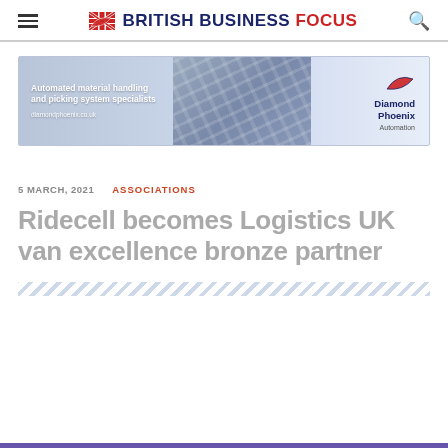BRITISH BUSINESS FOCUS
[Figure (illustration): Diamond Phoenix Automation advertisement banner: Automated material handling and picking system specialists. diamondphoenix.co.uk]
5 MARCH, 2021
ASSOCIATIONS
Ridecell becomes Logistics UK van excellence bronze partner